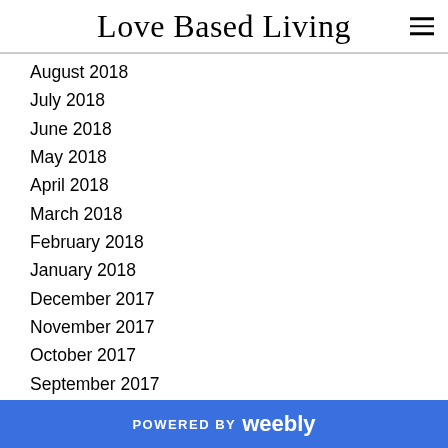Love Based Living
August 2018
July 2018
June 2018
May 2018
April 2018
March 2018
February 2018
January 2018
December 2017
November 2017
October 2017
September 2017
August 2017
July 2017
June 2017
POWERED BY weebly